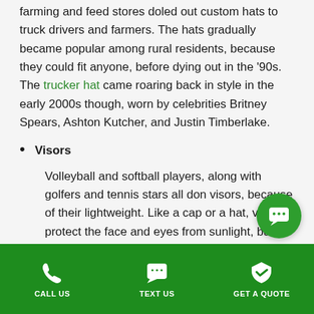farming and feed stores doled out custom hats to truck drivers and farmers. The hats gradually became popular among rural residents, because they could fit anyone, before dying out in the '90s. The trucker hat came roaring back in style in the early 2000s though, worn by celebrities Britney Spears, Ashton Kutcher, and Justin Timberlake.
Visors
Volleyball and softball players, along with golfers and tennis stars all don visors, because of their lightweight. Like a cap or a hat, visors protect the face and eyes from sunlight, but being crownless allows for airflow to cool the head.
B...
CALL US   TEXT US   GET A QUOTE